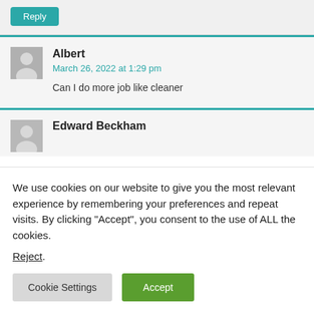Reply
Albert
March 26, 2022 at 1:29 pm
Can I do more job like cleaner
Edward Beckham
We use cookies on our website to give you the most relevant experience by remembering your preferences and repeat visits. By clicking “Accept”, you consent to the use of ALL the cookies.
Reject.
Cookie Settings
Accept